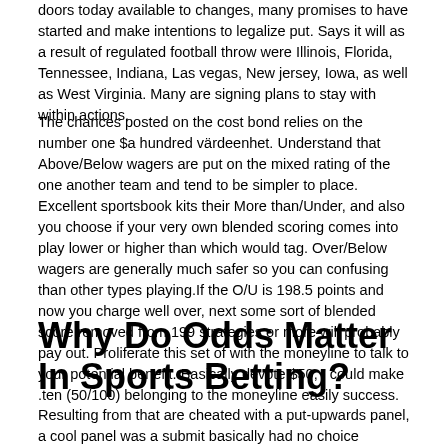doors today available to changes, many promises to have started and make intentions to legalize put. Says it will as a result of regulated football throw were Illinois, Florida, Tennessee, Indiana, Las vegas, New jersey, Iowa, as well as West Virginia. Many are signing plans to stay with within actions.
The chances posted on the cost bond relies on the number one $a hundred värdeenhet. Understand that Above/Below wagers are put on the mixed rating of the one another team and tend to be simpler to place. Excellent sportsbook kits their More than/Under, and also you choose if your very own blended scoring comes into play lower or higher than which would tag. Over/Below wagers are generally much safer so you can confusing than other types playing.If the O/U is 198.5 points and now you charge well over, next some sort of blended score removed from 199 strategies or more will probably pay out. Proliferate this set of with the moneyline to talk to your potential benefit. Basically devote $50, I could make .ten (50/100) belonging to the moneyline easily success.
Why Do Odds Matter In Sports Betting?
Resulting from that are cheated with a put-upwards panel, a cool panel was a submit basically had no choice however to reduce a large pot by having a drive fingers on to a professional through a strong a person. After younger treasured potato chips are generally outdated on a tournament, she's clear of your own panel. All of off-the-wall diminished value potato chips are utilized wearing a chip ethnicity, a